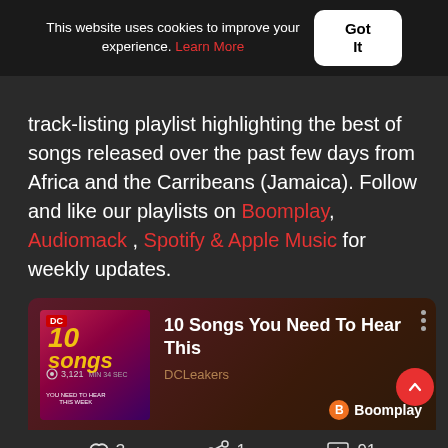This website uses cookies to improve your experience. Learn More
Got It
track-listing playlist highlighting the best of songs released over the past few days from Africa and the Carribeans (Jamaica). Follow and like our playlists on Boomplay, Audiomack , Spotify & Apple Music for weekly updates.
[Figure (screenshot): Boomplay music card showing '10 Songs You Need To Hear This' playlist by DCLeakers with 3,121 plays. Actions: 3 likes, 1 share, 91 downloads. Boomplay logo shown bottom right.]